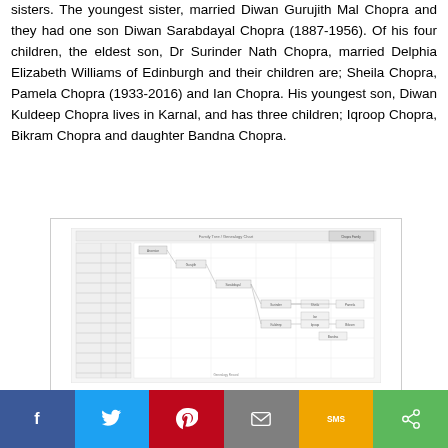sisters. The youngest sister, married Diwan Gurujith Mal Chopra and they had one son Diwan Sarabdayal Chopra (1887-1956). Of his four children, the eldest son, Dr Surinder Nath Chopra, married Delphia Elizabeth Williams of Edinburgh and their children are; Sheila Chopra, Pamela Chopra (1933-2016) and Ian Chopra. His youngest son, Diwan Kuldeep Chopra lives in Karnal, and has three children; Iqroop Chopra, Bikram Chopra and daughter Bandna Chopra.
[Figure (other): A scanned/photographed genealogy family tree chart with handwritten and printed entries showing family lineage and relationships.]
f  [Twitter icon]  [Pinterest icon]  [Email icon]  SMS  [Share icon]